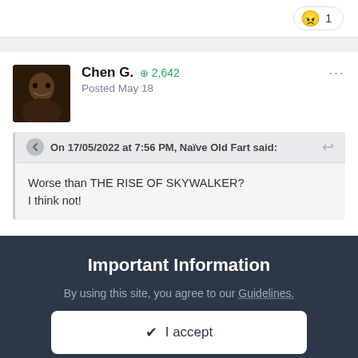😠 1
Chen G. ⊕ 2,642
Posted May 18
On 17/05/2022 at 7:56 PM, Naïve Old Fart said:
Worse than THE RISE OF SKYWALKER?
I think not!
Important Information
By using this site, you agree to our Guidelines.
✔ I accept